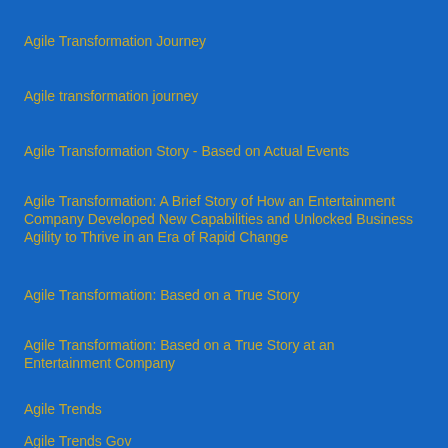Agile Transformation Journey
Agile transformation journey
Agile Transformation Story - Based on Actual Events
Agile Transformation: A Brief Story of How an Entertainment Company Developed New Capabilities and Unlocked Business Agility to Thrive in an Era of Rapid Change
Agile Transformation: Based on a True Story
Agile Transformation: Based on a True Story at an Entertainment Company
Agile Trends
Agile Trends Gov